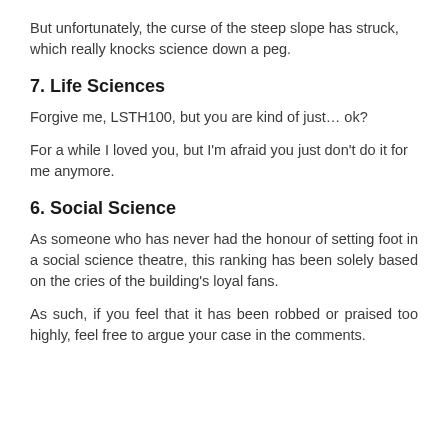But unfortunately, the curse of the steep slope has struck, which really knocks science down a peg.
7. Life Sciences
Forgive me, LSTH100, but you are kind of just… ok?
For a while I loved you, but I'm afraid you just don't do it for me anymore.
6. Social Science
As someone who has never had the honour of setting foot in a social science theatre, this ranking has been solely based on the cries of the building's loyal fans.
As such, if you feel that it has been robbed or praised too highly, feel free to argue your case in the comments.